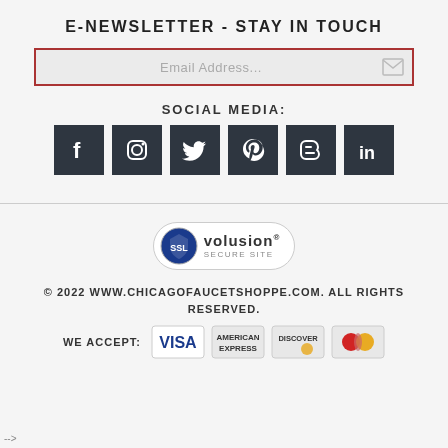E-NEWSLETTER - STAY IN TOUCH
Email Address...
SOCIAL MEDIA:
[Figure (other): Six social media icon buttons: Facebook, Instagram, Twitter, Pinterest, Blogger, LinkedIn — dark square icons]
[Figure (logo): SSL Volusion Secure Site badge — oval badge with blue SSL shield and volusion text]
© 2022 WWW.CHICAGOFAUCETSHOPPE.COM. ALL RIGHTS RESERVED.
[Figure (other): Payment methods: WE ACCEPT: VISA, American Express, Discover, MasterCard card logos]
-->